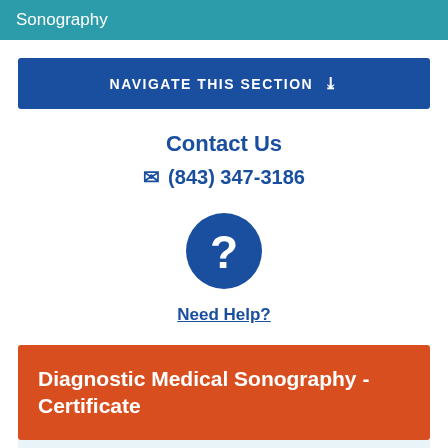Sonography
NAVIGATE THIS SECTION
Contact Us
(843) 347-3186
[Figure (illustration): Blue circle with white question mark icon]
Need Help?
Diagnostic Medical Sonography - Certificate